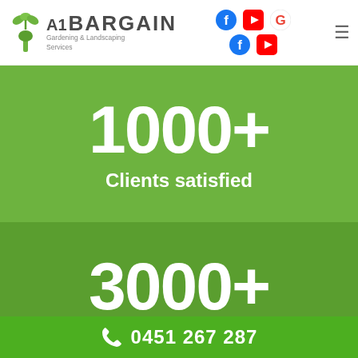[Figure (logo): A1 Bargain Gardening & Landscaping Services logo with green leaf/plant icon]
[Figure (infographic): Social media icons: Facebook (blue), YouTube (red), Google (red G), Facebook (blue), YouTube (red)]
1000+
Clients satisfied
3000+
Projects completed
0451 267 287